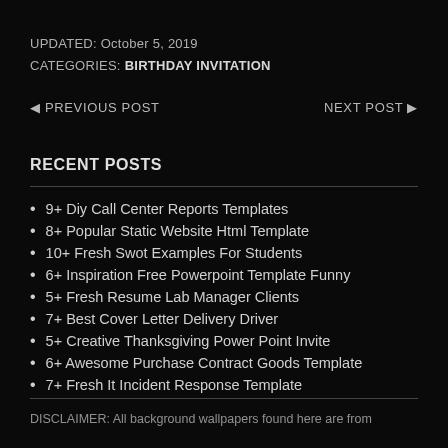UPDATED: October 5, 2019
CATEGORIES: BIRTHDAY INVITATION
◄ PREVIOUS POST    NEXT POST ►
RECENT POSTS
9+ Diy Call Center Reports Templates
8+ Popular Static Website Html Template
10+ Fresh Swot Examples For Students
6+ Inspiration Free Powerpoint Template Funny
5+ Fresh Resume Lab Manager Clients
7+ Best Cover Letter Delivery Driver
5+ Creative Thanksgiving Power Point Invite
6+ Awesome Purchase Contract Goods Template
7+ Fresh It Incident Response Template
7+ Fresh Volunteering Thank You Letters
DISCLAIMER: All background wallpapers found here are from